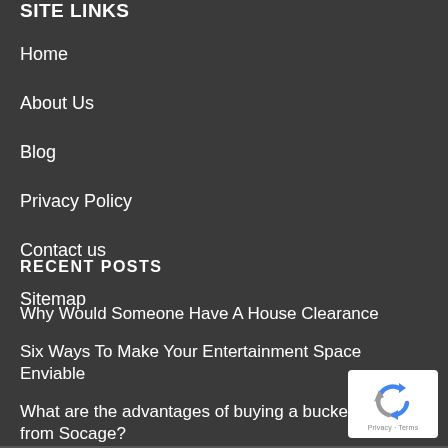SITE LINKS
Home
About Us
Blog
Privacy Policy
Contact us
Sitemap
RECENT POSTS
Why Would Someone Have A House Clearance
Six Ways To Make Your Entertainment Space Enviable
What are the advantages of buying a bucket truck from Socage?
[Figure (logo): reCAPTCHA badge with Google logo and Privacy - Terms text]